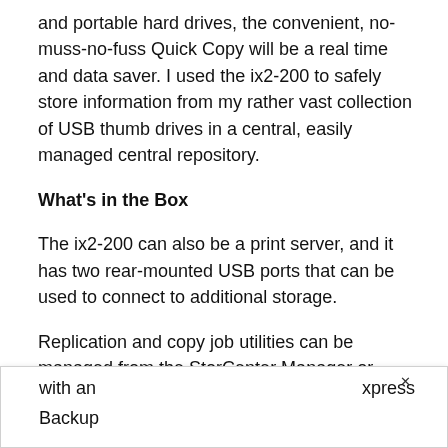and portable hard drives, the convenient, no-muss-no-fuss Quick Copy will be a real time and data saver. I used the ix2-200 to safely store information from my rather vast collection of USB thumb drives in a central, easily managed central repository.
What's in the Box
The ix2-200 can also be a print server, and it has two rear-mounted USB ports that can be used to connect to additional storage.
Replication and copy job utilities can be managed from the StorCenter Manager or accessed directly without the need for Iomega management software. The ix2-200 also comes with an [... xpress Backup